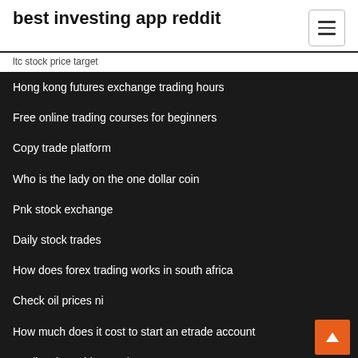best investing app reddit
ltc stock price target
Hong kong futures exchange trading hours
Free online trading courses for beginners
Copy trade platform
Who is the lady on the one dollar coin
Pnk stock exchange
Daily stock trades
How does forex trading works in south africa
Check oil prices ni
How much does it cost to start an etrade account
Tradingview widget options